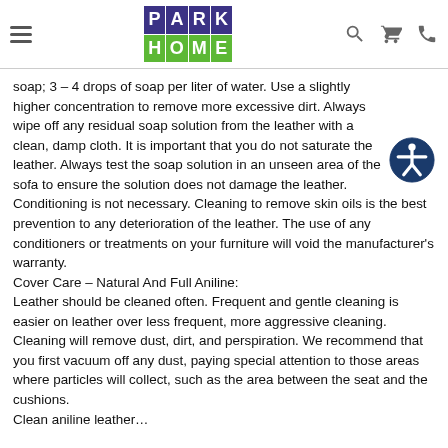Park Home logo with navigation icons (hamburger menu, search, cart, phone)
soap; 3 – 4 drops of soap per liter of water. Use a slightly higher concentration to remove more excessive dirt. Always wipe off any residual soap solution from the leather with a clean, damp cloth. It is important that you do not saturate the leather. Always test the soap solution in an unseen area of the sofa to ensure the solution does not damage the leather.
Conditioning is not necessary. Cleaning to remove skin oils is the best prevention to any deterioration of the leather. The use of any conditioners or treatments on your furniture will void the manufacturer's warranty.
Cover Care – Natural And Full Aniline:
Leather should be cleaned often. Frequent and gentle cleaning is easier on leather over less frequent, more aggressive cleaning. Cleaning will remove dust, dirt, and perspiration. We recommend that you first vacuum off any dust, paying special attention to those areas where particles will collect, such as the area between the seat and the cushions.
Clean aniline leather…